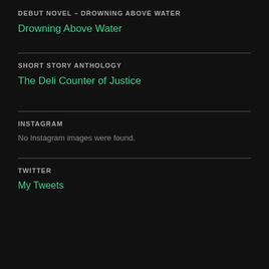DEBUT NOVEL – DROWNING ABOVE WATER
Drowning Above Water
SHORT STORY ANTHOLOGY
The Deli Counter of Justice
INSTAGRAM
No Instagram images were found.
TWITTER
My Tweets